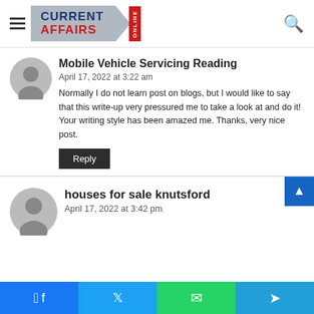[Figure (logo): Current Affairs Online logo with hamburger menu and search icon]
Mobile Vehicle Servicing Reading
April 17, 2022 at 3:22 am
Normally I do not learn post on blogs, but I would like to say that this write-up very pressured me to take a look at and do it! Your writing style has been amazed me. Thanks, very nice post.
Reply
houses for sale knutsford
April 17, 2022 at 3:42 pm